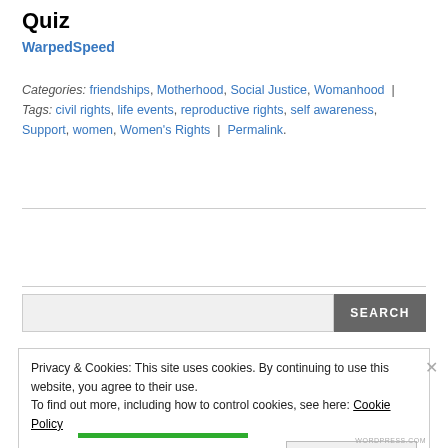Quiz
WarpedSpeed
Categories: friendships, Motherhood, Social Justice, Womanhood | Tags: civil rights, life events, reproductive rights, self awareness, Support, women, Women's Rights | Permalink.
Privacy & Cookies: This site uses cookies. By continuing to use this website, you agree to their use.
To find out more, including how to control cookies, see here: Cookie Policy
Close and accept